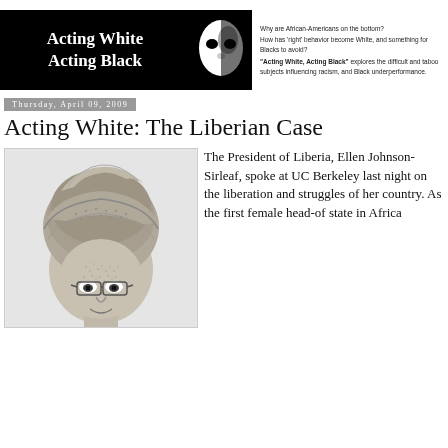[Figure (logo): Acting White Acting Black blog banner with black background, white text, phantom mask graphic, and tagline text]
Thursday, April 09, 2009
Acting White: The Liberian Case
[Figure (illustration): Black and white stippled illustration of Ellen Johnson-Sirleaf wearing a head wrap]
The President of Liberia, Ellen Johnson-Sirleaf, spoke at UC Berkeley last night on the liberation and struggles of her country. As the first female head-of state in Africa